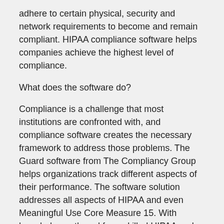adhere to certain physical, security and network requirements to become and remain compliant. HIPAA compliance software helps companies achieve the highest level of compliance.
What does the software do?
Compliance is a challenge that most institutions are confronted with, and compliance software creates the necessary framework to address those problems. The Guard software from The Compliancy Group helps organizations track different aspects of their performance. The software solution addresses all aspects of HIPAA and even Meaningful Use Core Measure 15. With knowledge gathered from skilled HIPAA and technology experts, The Compliancy Group successfully developed a solution that helps track compliance in multiple areas. The software cuts costs for consultants and eliminates the need for investing in external audit services.